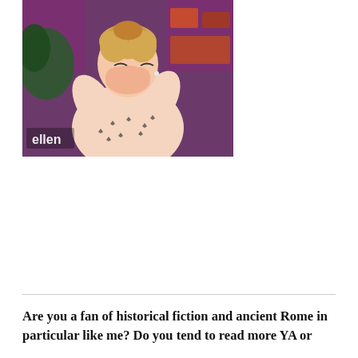[Figure (photo): A young blonde woman laughing and covering her mouth with her hands on what appears to be the Ellen DeGeneres Show set. She is wearing a white blouse with small black pattern. The 'ellen' logo is visible in the lower left corner of the image.]
Are you a fan of historical fiction and ancient Rome in particular like me? Do you tend to read more YA or